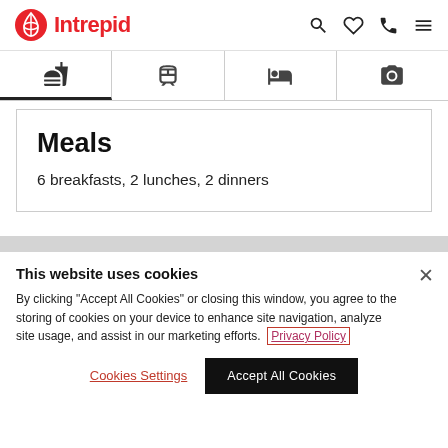Intrepid
[Figure (infographic): Tab bar with four icons: fork and knife (meals), train (transport), bed (accommodation), camera (photos)]
Meals
6 breakfasts, 2 lunches, 2 dinners
This website uses cookies
By clicking "Accept All Cookies" or closing this window, you agree to the storing of cookies on your device to enhance site navigation, analyze site usage, and assist in our marketing efforts. Privacy Policy
Cookies Settings
Accept All Cookies